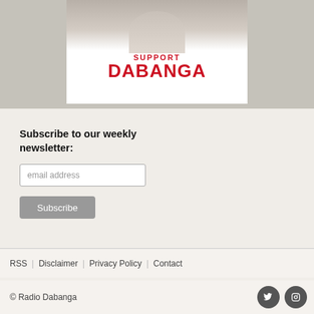[Figure (illustration): Banner with 'SUPPORT DABANGA' text in red on white background, with a partial photo of a person above]
Subscribe to our weekly newsletter:
email address
Subscribe
RSS | Disclaimer | Privacy Policy | Contact
© Radio Dabanga